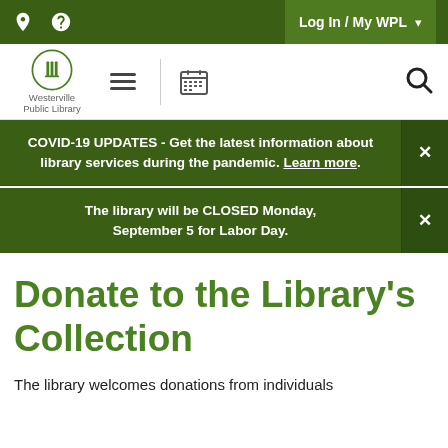Log In / My WPL
[Figure (logo): Westerville Public Library logo with book/lamp icon and text]
COVID-19 UPDATES - Get the latest information about library services during the pandemic. Learn more.
The library will be CLOSED Monday, September 5 for Labor Day.
Donate to the Library's Collection
The library welcomes donations from individuals